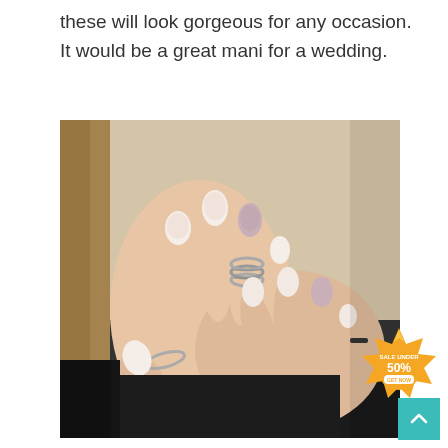these will look gorgeous for any occasion. It would be a great mani for a wedding.
[Figure (photo): Close-up photo of two hands with manicured oval nails in neutral tones (pale pink and dusty mauve), wearing silver stacked rings. The person is wearing a beige knit top and dark pants. A 'SALE UNDER 50% GET NOW' badge overlay and a teal scroll-to-top button appear in the bottom-right corner.]